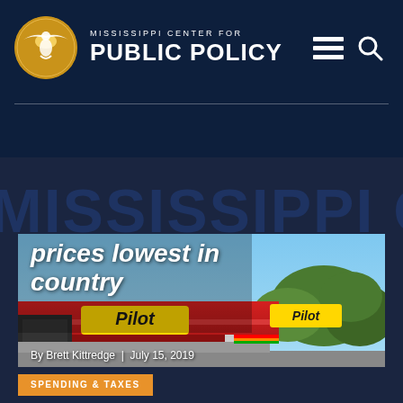MISSISSIPPI CENTER FOR PUBLIC POLICY
[Figure (screenshot): Mississippi Center for Public Policy website screenshot showing a navy header with logo, a background image of a gas station with 'MISSISSIPPI C' text, and an article card overlay about Mississippi gas prices being lowest in country by Brett Kittredge, July 15, 2019, with a Pilot gas station photo and Spending & Taxes category tag]
Mississippi's gas prices lowest in country
By Brett Kittredge  |  July 15, 2019
SPENDING & TAXES